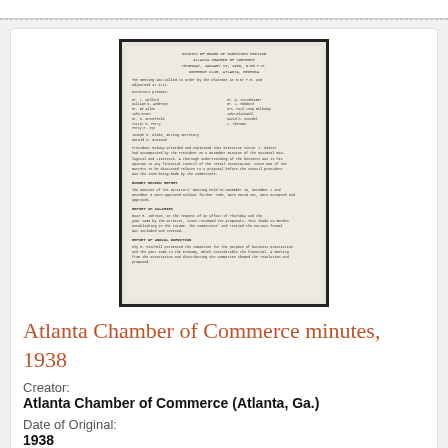[Figure (photo): Scanned document page showing minutes of the Atlanta Chamber of Commerce from 1938, typed text with headings and body paragraphs on aged paper with a dark border frame.]
Atlanta Chamber of Commerce minutes, 1938
Creator:
Atlanta Chamber of Commerce (Atlanta, Ga.)
Date of Original:
1938